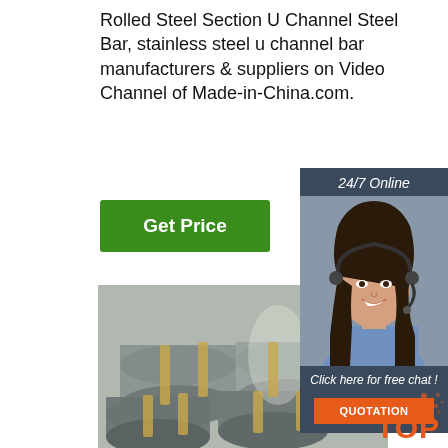Rolled Steel Section U Channel Steel Bar, stainless steel u channel bar manufacturers & suppliers on Video Channel of Made-in-China.com.
[Figure (other): Green 'Get Price' button]
[Figure (photo): Stacked coils of steel wire rod in a warehouse]
[Figure (other): 24/7 Online customer service chat widget with photo of a woman wearing a headset, 'Click here for free chat!' text, and an orange QUOTATION button]
[Figure (other): Orange 'TOP' badge with decorative dots in lower right corner]